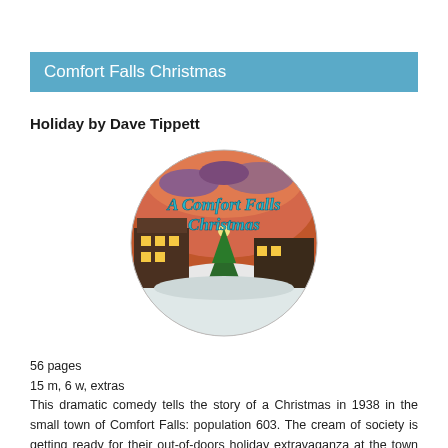Comfort Falls Christmas
Holiday by Dave Tippett
[Figure (illustration): Circular illustration showing a snowy Christmas town scene at night with the text 'A Comfort Falls Christmas' in teal cursive lettering overlaid.]
56 pages
15 m, 6 w, extras
This dramatic comedy tells the story of a Christmas in 1938 in the small town of Comfort Falls: population 603. The cream of society is getting ready for their out-of-doors holiday extravaganza at the town bandstand until they find out that the local church is planning a "competing" program, their